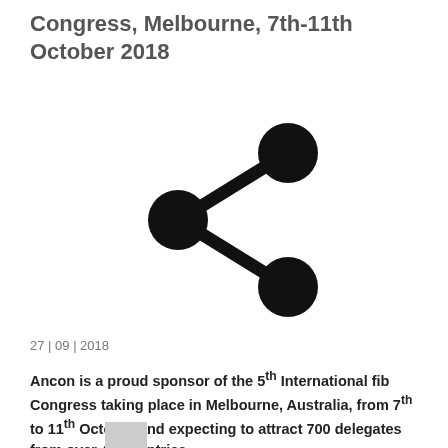Congress, Melbourne, 7th-11th October 2018
[Figure (illustration): Share icon: three circles connected by lines in a share/network symbol]
27 | 09 | 2018
Ancon is a proud sponsor of the 5th International fib Congress taking place in Melbourne, Australia, from 7th to 11th October and expecting to attract 700 delegates from over 40 countries.
[Figure (photo): Small thumbnail image]